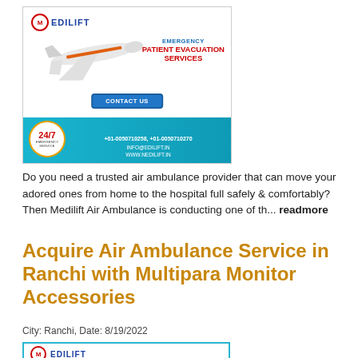[Figure (infographic): Medilift air ambulance advertisement banner with logo, airplane, emergency patient evacuation services text, contact us button, 24/7 emergency service badge, phone numbers and website on teal ribbon]
Do you need a trusted air ambulance provider that can move your adored ones from home to the hospital full safely & comfortably? Then Medilift Air Ambulance is conducting one of th... readmore
Acquire Air Ambulance Service in Ranchi with Multipara Monitor Accessories
City: Ranchi, Date: 8/19/2022
[Figure (infographic): Medilift logo partial view at bottom of page, top of another advertisement banner with cyan border]